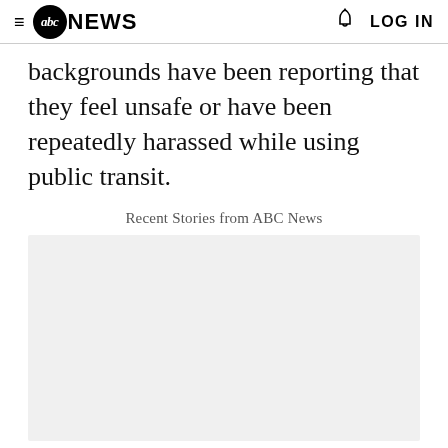abc NEWS  LOG IN
backgrounds have been reporting that they feel unsafe or have been repeatedly harassed while using public transit.
Recent Stories from ABC News
[Figure (other): Empty light gray content placeholder box for ABC News recent stories]